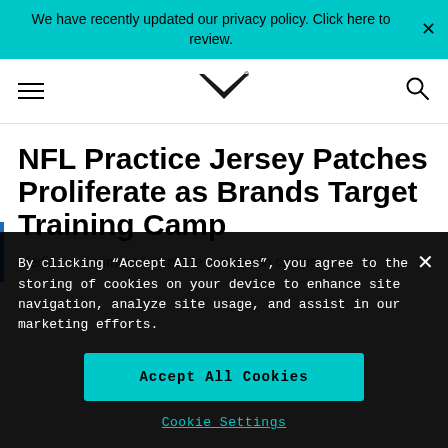We have recently updated our privacy policy. Click here to review.
[Figure (logo): MastersMedia logo - stylized M chevron mark with registered trademark symbol]
NFL Practice Jersey Patches Proliferate as Brands Target Training Camp
Media environment has made preseason camps
By clicking “Accept All Cookies”, you agree to the storing of cookies on your device to enhance site navigation, analyze site usage, and assist in our marketing efforts.
Accept All Cookies
Cookie Settings